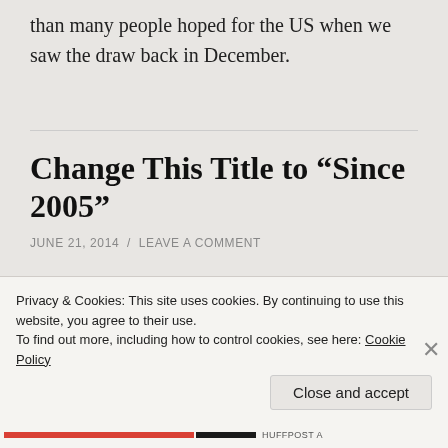than many people hoped for the US when we saw the draw back in December.
Change This Title to “Since 2005”
JUNE 21, 2014 / LEAVE A COMMENT
And it’s closer to right. http://www.huffingtonpost.com/2014/06/21/disappoin
Privacy & Cookies: This site uses cookies. By continuing to use this website, you agree to their use.
To find out more, including how to control cookies, see here: Cookie Policy
Close and accept